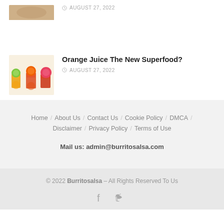[Figure (photo): Partially cropped food image at top]
AUGUST 27, 2022
[Figure (photo): Three glasses of orange juice with citrus fruits]
Orange Juice The New Superfood?
AUGUST 27, 2022
Home / About Us / Contact Us / Cookie Policy / DMCA / Disclaimer / Privacy Policy / Terms of Use
Mail us: admin@burritosalsa.com
© 2022 Burritosalsa – All Rights Reserved To Us